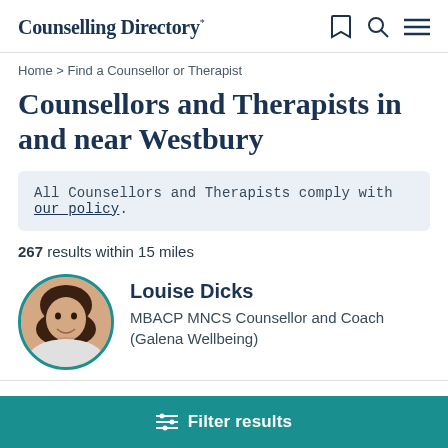Counselling Directory
Home > Find a Counsellor or Therapist
Counsellors and Therapists in and near Westbury
All Counsellors and Therapists comply with our policy.
267 results within 15 miles
[Figure (photo): Circular profile photo of Louise Dicks with teal border]
Louise Dicks
MBACP MNCS Counsellor and Coach (Galena Wellbeing)
Filter results